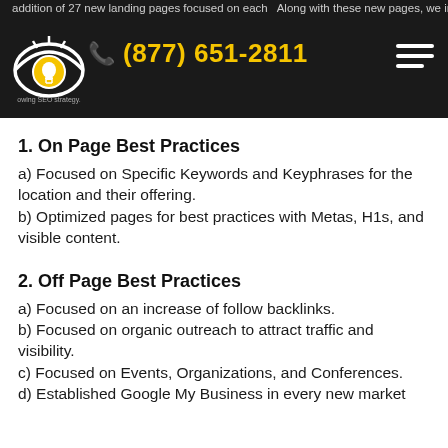addition of 27 new landing pages focused on each. Along with these new pages, we impleme... owing SEO strategy. (877) 651-2811
1. On Page Best Practices
a) Focused on Specific Keywords and Keyphrases for the location and their offering.
b) Optimized pages for best practices with Metas, H1s, and visible content.
2. Off Page Best Practices
a) Focused on an increase of follow backlinks.
b) Focused on organic outreach to attract traffic and visibility.
c) Focused on Events, Organizations, and Conferences.
d) Established Google My Business in every new market